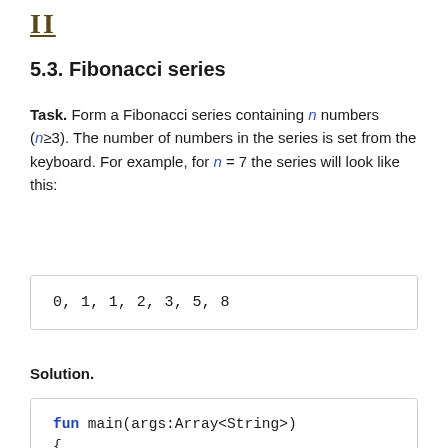II
5.3. Fibonacci series
Task. Form a Fibonacci series containing n numbers (n≥3). The number of numbers in the series is set from the keyboard. For example, for n = 7 the series will look like this:
Solution.
[Figure (screenshot): Code block showing Kotlin function: fun main(args:Array<String>) { // Formation of the Fibonacci series // 1. Boolean variables...]